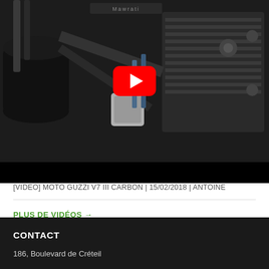[Figure (screenshot): YouTube video thumbnail showing a Moto Guzzi V7 III Carbon motorcycle engine and exhaust pipes in close-up, with a YouTube play button overlay centered on the image. The image has a black bar at the bottom.]
[VIDEO] MOTO GUZZI V7 III CARBON | 15/02/2018 | ANTOINE
PLUS DE VIDÉOS →
CONTACT
186, Boulevard de Créteil